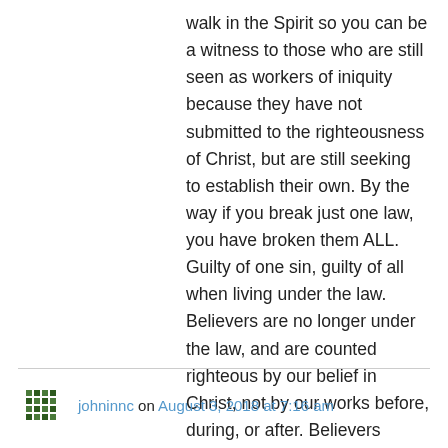walk in the Spirit so you can be a witness to those who are still seen as workers of iniquity because they have not submitted to the righteousness of Christ, but are still seeking to establish their own. By the way if you break just one law, you have broken them ALL. Guilty of one sin, guilty of all when living under the law. Believers are no longer under the law, and are counted righteous by our belief in Christ, not by our works before, during, or after. Believers should do good works after we have believed.

We think the Biblical answer is #3.
johninnc on August 3, 2018 at 7:16 am